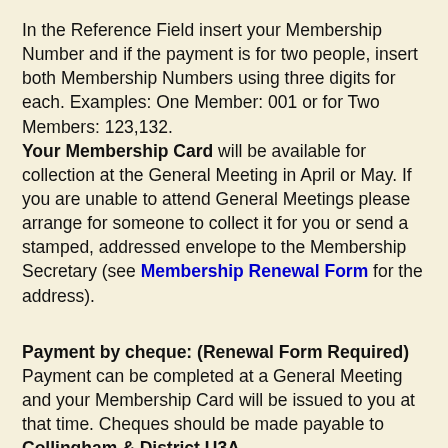In the Reference Field insert your Membership Number and if the payment is for two people, insert both Membership Numbers using three digits for each. Examples: One Member: 001 or for Two Members: 123,132. Your Membership Card will be available for collection at the General Meeting in April or May. If you are unable to attend General Meetings please arrange for someone to collect it for you or send a stamped, addressed envelope to the Membership Secretary (see Membership Renewal Form for the address).
Payment by cheque: (Renewal Form Required)
Payment can be completed at a General Meeting and your Membership Card will be issued to you at that time. Cheques should be made payable to Collingham & District U3A. If you need the Membership Card to be posted to you, please send a completed Renewal Form